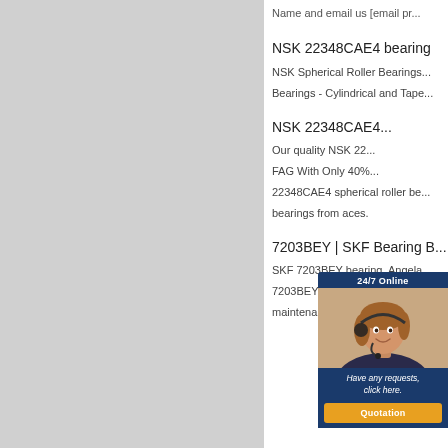[Figure (screenshot): Left grey panel area of a web page]
Name and email us [email pr...
NSK 22348CAE4 bearing
NSK Spherical Roller Bearings... Bearings - Cylindrical and Tape...
NSK 22348CAE4...
Our quality NSK 22... FAG With Only 40%... 22348CAE4 spherical roller be... bearings from aces.
7203BEY | SKF Bearing B...
SKF 7203BEY bearing. Angela... 7203BEY are used in a wide va... maintenance. Angular contact b...
[Figure (photo): 24/7 Online chat widget with photo of woman wearing headset, message area and Quotation button]